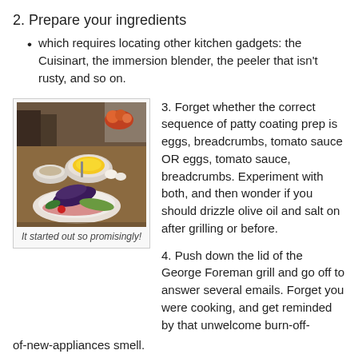2. Prepare your ingredients
which requires locating other kitchen gadgets: the Cuisinart, the immersion blender, the peeler that isn't rusty, and so on.
[Figure (photo): Kitchen counter with food ingredients including eggplant, peppers, eggs, bowls, and fruit in background]
It started out so promisingly!
3. Forget whether the correct sequence of patty coating prep is eggs, breadcrumbs, tomato sauce OR eggs, tomato sauce, breadcrumbs. Experiment with both, and then wonder if you should drizzle olive oil and salt on after grilling or before.
4. Push down the lid of the George Foreman grill and go off to answer several emails. Forget you were cooking, and get reminded by that unwelcome burn-off-of-new-appliances smell.